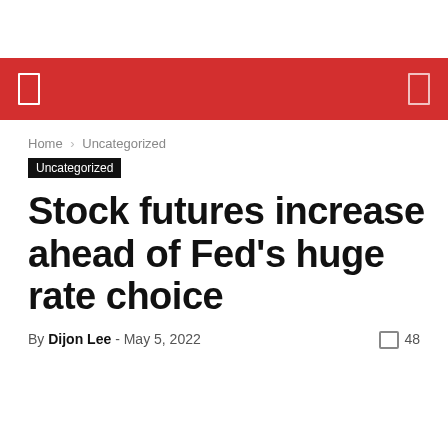Home / Uncategorized
Uncategorized
Stock futures increase ahead of Fed's huge rate choice
By Dijon Lee - May 5, 2022  48